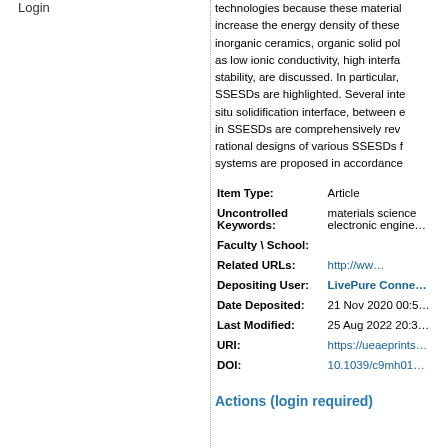Login
technologies because these materials increase the energy density of these inorganic ceramics, organic solid polymers as low ionic conductivity, high interfacial stability, are discussed. In particular, SSESDs are highlighted. Several interfaces situ solidification interface, between electrodes in SSESDs are comprehensively reviewed. The rational designs of various SSESDs for energy systems are proposed in accordance
| Field | Value |
| --- | --- |
| Item Type: | Article |
| Uncontrolled Keywords: | materials science; electronic engineering |
| Faculty \ School: |  |
| Related URLs: | http://ww… |
| Depositing User: | LivePure Conne… |
| Date Deposited: | 21 Nov 2020 00:5… |
| Last Modified: | 25 Aug 2022 20:3… |
| URI: | https://ueaeprints… |
| DOI: | 10.1039/c9mh01… |
Actions (login required)